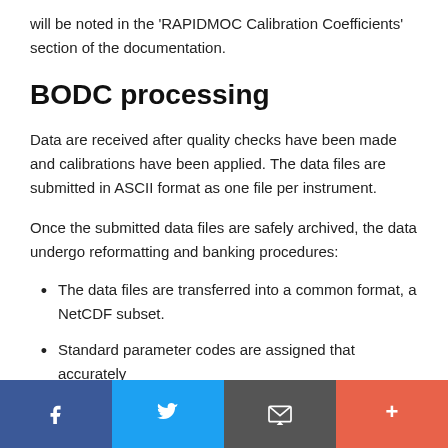will be noted in the 'RAPIDMOC Calibration Coefficients' section of the documentation.
BODC processing
Data are received after quality checks have been made and calibrations have been applied. The data files are submitted in ASCII format as one file per instrument.
Once the submitted data files are safely archived, the data undergo reformatting and banking procedures:
The data files are transferred into a common format, a NetCDF subset.
Standard parameter codes are assigned that accurately
[Figure (other): Social media sharing bar with Facebook, Twitter, email, and more buttons]